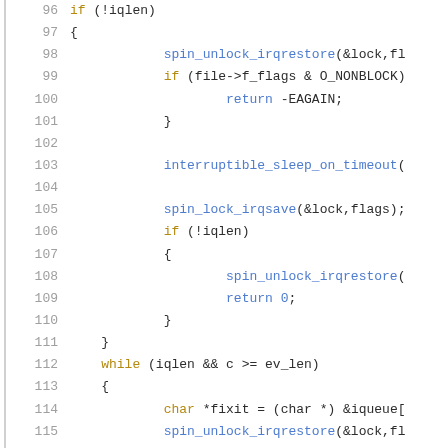Code listing lines 96-116: C source code showing conditional logic with spin_unlock_irqrestore, interruptible_sleep_on_timeout, spin_lock_irqsave, while loop, and copy_to_user calls.